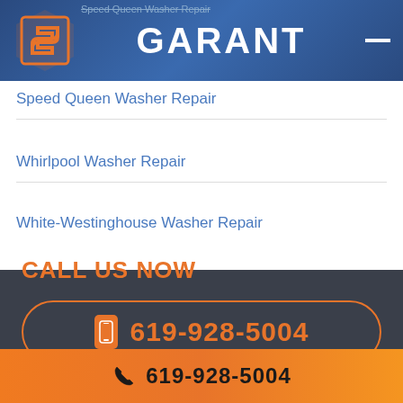GARANT
Speed Queen Washer Repair
Whirlpool Washer Repair
White-Westinghouse Washer Repair
CALL US NOW
619-928-5004
619-928-5004